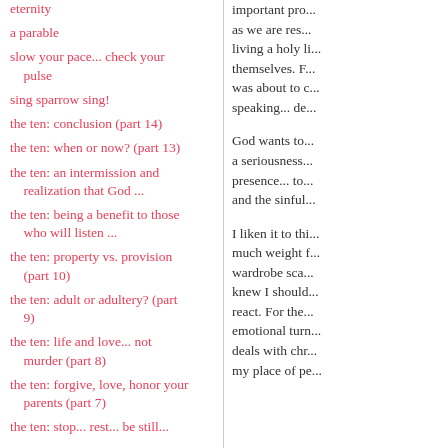eternity
a parable
slow your pace... check your pulse
sing sparrow sing!
the ten: conclusion (part 14)
the ten: when or now? (part 13)
the ten: an intermission and realization that God ...
the ten: being a benefit to those who will listen ...
the ten: property vs. provision (part 10)
the ten: adult or adultery? (part 9)
the ten: life and love... not murder (part 8)
the ten: forgive, love, honor your parents (part 7)
the ten: stop... rest... be still...
important pro... as we are res... living a holy li... themselves. F... was about to c... speaking... de...
God wants to... a seriousness... presence... to... and the sinful...
I liken it to thi... much weight f... wardrobe sca... knew I should... react. For the... emotional turn... deals with chr... my place of pe...